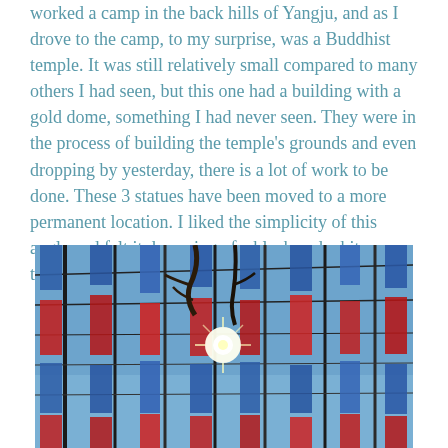worked a camp in the back hills of Yangju, and as I drove to the camp, to my surprise, was a Buddhist temple. It was still relatively small compared to many others I had seen, but this one had a building with a gold dome, something I had never seen. They were in the process of building the temple's grounds and even dropping by yesterday, there is a lot of work to be done. These 3 statues have been moved to a more permanent location. I liked the simplicity of this angle and felt it deserving of a black and white transformation.
[Figure (photo): Colorful blue and red hanging banners or prayer flags strung between scaffolding and bare trees against a bright sky, with sunlight shining through the center of the image.]